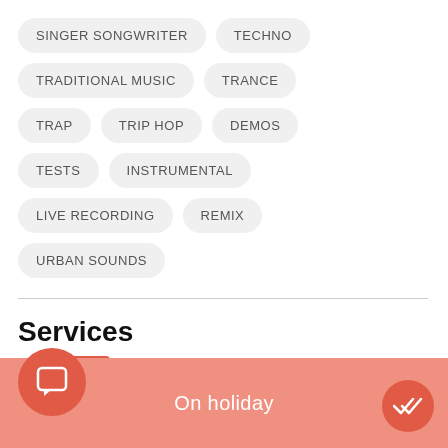SINGER SONGWRITER
TECHNO
TRADITIONAL MUSIC
TRANCE
TRAP
TRIP HOP
DEMOS
TESTS
INSTRUMENTAL
LIVE RECORDING
REMIX
URBAN SOUNDS
Services
On holiday